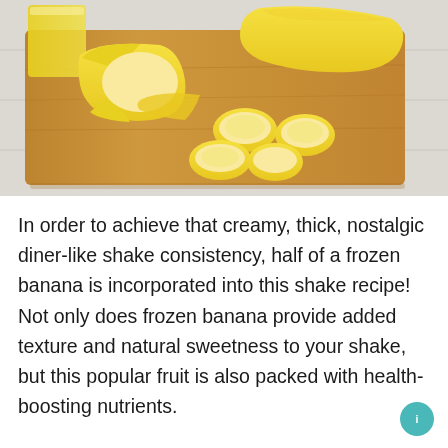[Figure (photo): Photo of sliced bananas on a wooden cutting board, with a yellow glass of juice visible in the background upper left, on a white surface.]
In order to achieve that creamy, thick, nostalgic diner-like shake consistency, half of a frozen banana is incorporated into this shake recipe! Not only does frozen banana provide added texture and natural sweetness to your shake, but this popular fruit is also packed with health-boosting nutrients.